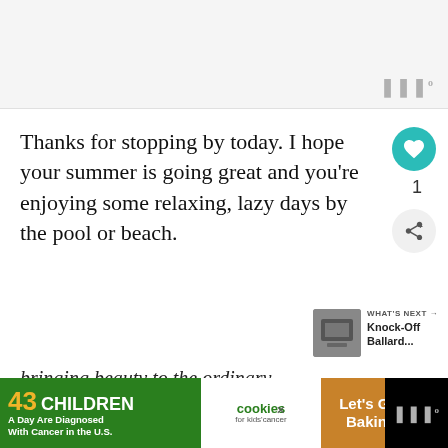[Figure (other): Top advertisement area with light gray background and Wordmarks logo in bottom right corner]
Thanks for stopping by today. I hope your summer is going great and you're enjoying some relaxing, lazy days by the pool or beach.
bringing beauty to the ordinary,
[Figure (other): Bottom advertisement banner: '43 CHILDREN A Day Are Diagnosed With Cancer in the U.S.' with cookies for kids cancer and Let's Get Baking logos, on black background with Wordmarks logo]